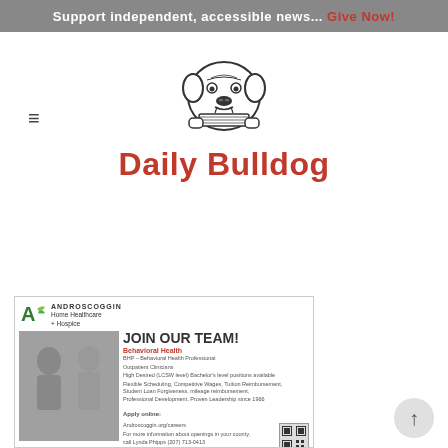Support independent, accessible news... Give Now!
[Figure (logo): Daily Bulldog logo: cartoon bulldog holding a newspaper in its mouth, with text 'Daily Bulldog' in red below]
[Figure (advertisement): Androscoggin Home Healthcare + Hospice job advertisement. JOIN OUR TEAM! Behavioral Health. BHP – Behavioral Health Professional, Outpatient Clinicians. High Desired (LCSW level) Bachelor's level positions available. Flexible Scheduling, Competitive Wages, Tuition Reimbursement, Student Loan Forgiveness, mileage reimbursement, Professional Development, Proven Leadership since 1966. Apply online: Androscoggin.org/careers. For more information about openings in your county, call Lynda Phipps (207) 713-0413.]